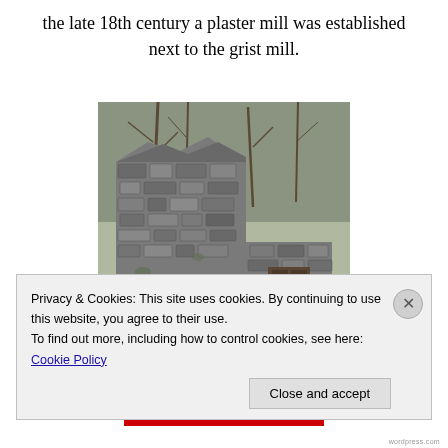the late 18th century a plaster mill was established next to the grist mill.
[Figure (photo): A ruined stone building, likely an old mill, with crumbling walls made of stacked irregular stones. Trees without leaves are visible in the background. The structure shows collapsed sections and an open archway at the base.]
Privacy & Cookies: This site uses cookies. By continuing to use this website, you agree to their use.
To find out more, including how to control cookies, see here: Cookie Policy